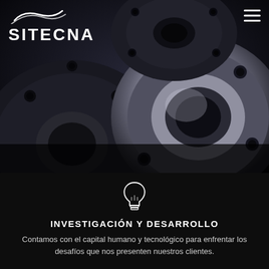[Figure (photo): Dark industrial metallic flanges/disc parts with circular bolt holes, photographed close-up against a very dark background. Multiple black and silver steel flanges visible.]
SITECNA
INVESTIGACIÓN Y DESARROLLO
Contamos con el capital humano y tecnológico para enfrentar los desafíos que nos presenten nuestros clientes.